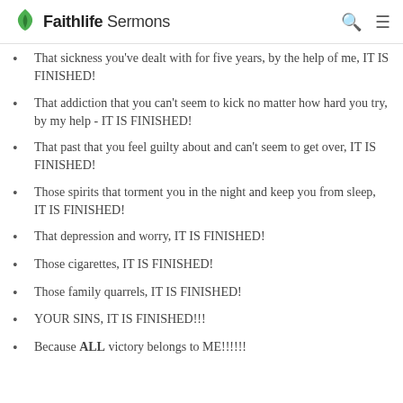Faithlife Sermons
That sickness you've dealt with for five years, by the help of me, IT IS FINISHED!
That addiction that you can't seem to kick no matter how hard you try, by my help - IT IS FINISHED!
That past that you feel guilty about and can't seem to get over, IT IS FINISHED!
Those spirits that torment you in the night and keep you from sleep, IT IS FINISHED!
That depression and worry, IT IS FINISHED!
Those cigarettes, IT IS FINISHED!
Those family quarrels, IT IS FINISHED!
YOUR SINS, IT IS FINISHED!!!
Because ALL victory belongs to ME!!!!!!